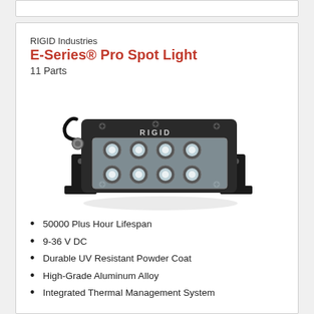RIGID Industries
E-Series® Pro Spot Light
11 Parts
[Figure (photo): RIGID Industries E-Series Pro Spot Light — a rectangular LED light bar with 8 LED lenses in a 2×4 arrangement, housed in a black aluminum housing with mounting brackets on the bottom, and a wiring cable on the left side.]
50000 Plus Hour Lifespan
9-36 V DC
Durable UV Resistant Powder Coat
High-Grade Aluminum Alloy
Integrated Thermal Management System